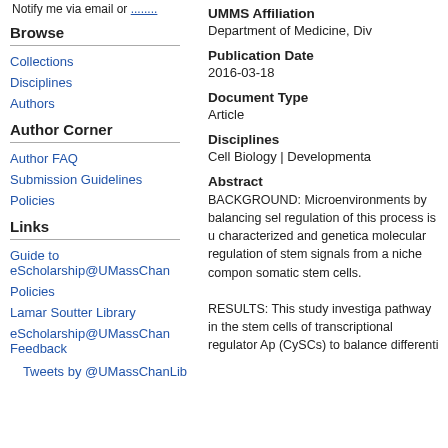Notify me via email or .........
Browse
Collections
Disciplines
Authors
Author Corner
Author FAQ
Submission Guidelines
Policies
Links
Guide to eScholarship@UMassChan
Policies
Lamar Soutter Library
eScholarship@UMassChan Feedback
Tweets by @UMassChanLib
UMMS Affiliation
Department of Medicine, Div
Publication Date
2016-03-18
Document Type
Article
Disciplines
Cell Biology | Developmenta
Abstract
BACKGROUND: Microenvironments by balancing regulation of this process is characterized and genetica molecular regulation of stem signals from a niche compon somatic stem cells.

RESULTS: This study investiga pathway in the stem cells of transcriptional regulator Ap (CySCs) to balance differenti